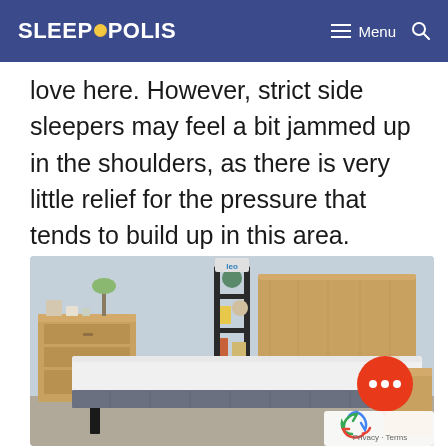SLEEPOPOLIS  ≡ Menu  🔍
love here. However, strict side sleepers may feel a bit jammed up in the shoulders, as there is very little relief for the pressure that tends to build up in this area.
[Figure (photo): A mattress on a bed frame in a styled bedroom with wooden furniture, dresser, leaning shelf, and wood headboard. A red chat bubble icon overlays the lower right of the image. A reCAPTCHA widget and Privacy · Terms text appear in the bottom right corner.]